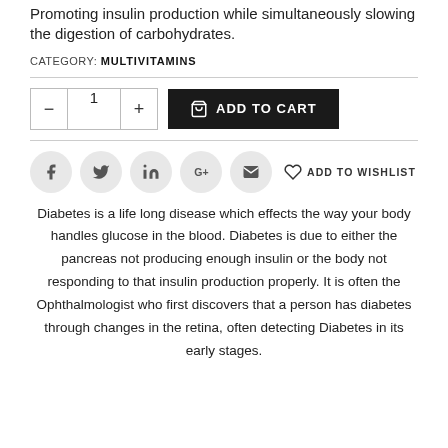Promoting insulin production while simultaneously slowing the digestion of carbohydrates.
CATEGORY: MULTIVITAMINS
[Figure (other): Quantity selector with minus and plus buttons showing value 1, and an Add to Cart button with shopping bag icon]
[Figure (other): Social sharing icons: Facebook, Twitter, LinkedIn, Google+, Email circles, and Add to Wishlist heart button]
Diabetes is a life long disease which effects the way your body handles glucose in the blood. Diabetes is due to either the pancreas not producing enough insulin or the body not responding to that insulin production properly. It is often the Ophthalmologist who first discovers that a person has diabetes through changes in the retina, often detecting Diabetes in its early stages.